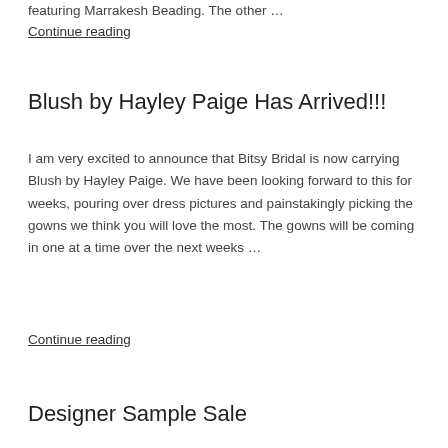featuring Marrakesh Beading. The other …
Continue reading
Blush by Hayley Paige Has Arrived!!!
I am very excited to announce that Bitsy Bridal is now carrying Blush by Hayley Paige. We have been looking forward to this for weeks, pouring over dress pictures and painstakingly picking the gowns we think you will love the most. The gowns will be coming in one at a time over the next weeks …
Continue reading
Designer Sample Sale